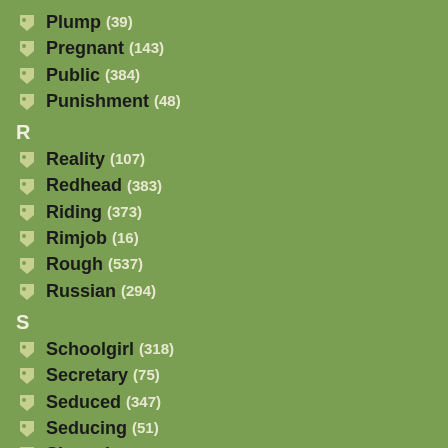Plump (39)
Pregnant (143)
Public (384)
Punishment (48)
R
Reality (107)
Redhead (383)
Riding (373)
Rimjob (16)
Rough (537)
Russian (294)
S
Schoolgirl (318)
Secretary (75)
Seduced (347)
Seducing (51)
Shemale (22)